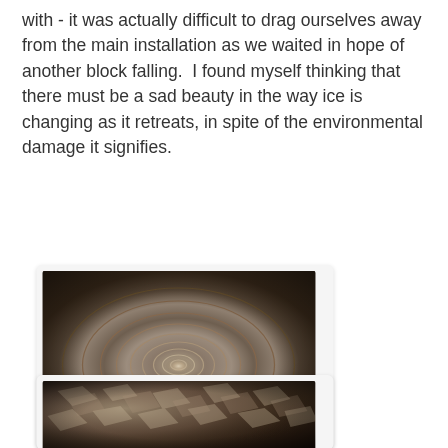with - it was actually difficult to drag ourselves away from the main installation as we waited in hope of another block falling.  I found myself thinking that there must be a sad beauty in the way ice is changing as it retreats, in spite of the environmental damage it signifies.
[Figure (photo): Aerial or close-up photograph of water surface showing concentric circular ripples in dark sepia/monochrome tones, resembling a stone dropped in water creating rings]
[Figure (photo): Close-up photograph of water surface showing irregular wave patterns and textures in dark sepia/monochrome tones]